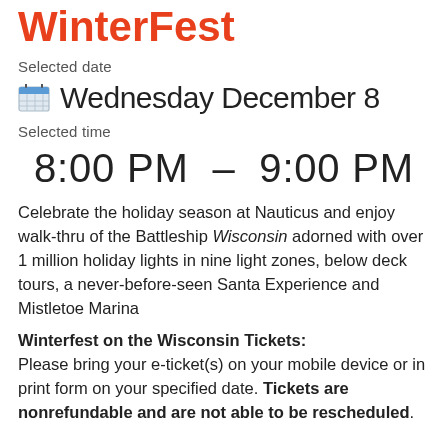WinterFest
Selected date
Wednesday December 8
Selected time
8:00 PM – 9:00 PM
Celebrate the holiday season at Nauticus and enjoy walk-thru of the Battleship Wisconsin adorned with over 1 million holiday lights in nine light zones, below deck tours, a never-before-seen Santa Experience and Mistletoe Marina
Winterfest on the Wisconsin Tickets: Please bring your e-ticket(s) on your mobile device or in print form on your specified date. Tickets are nonrefundable and are not able to be rescheduled.